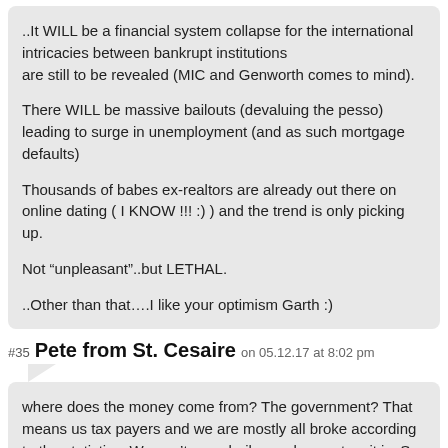..It WILL be a financial system collapse for the international intricacies between bankrupt institutions are still to be revealed (MIC and Genworth comes to mind).

There WILL be massive bailouts (devaluing the pesso) leading to surge in unemployment (and as such mortgage defaults)

Thousands of babes ex-realtors are already out there on online dating ( I KNOW !!! :) ) and the trend is only picking up.

Not “unpleasant”..but LETHAL.

..Other than that….I like your optimism Garth :)
#35 Pete from St. Cesaire on 05.12.17 at 8:02 pm
where does the money come from? The government? That means us tax payers and we are mostly all broke according to the statistics. We can’t even bail ourselves out as it is. So the money would have to be borrowed.

All money is borrowed. Money starts its life as a debt to those who printed